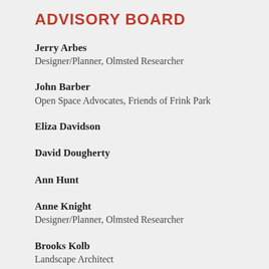ADVISORY BOARD
Jerry Arbes
Designer/Planner, Olmsted Researcher
John Barber
Open Space Advocates, Friends of Frink Park
Eliza Davidson
David Dougherty
Ann Hunt
Anne Knight
Designer/Planner, Olmsted Researcher
Brooks Kolb
Landscape Architect